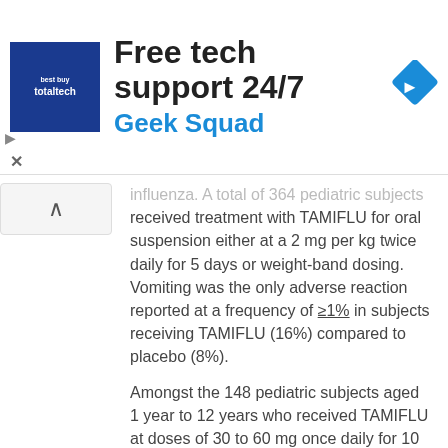[Figure (infographic): Advertisement banner: Best Buy Total Tech logo on blue square, text 'Free tech support 24/7' and 'Geek Squad' in blue, with a blue diamond navigation icon on the right.]
received treatment with TAMIFLU for oral suspension either at a 2 mg per kg twice daily for 5 days or weight-band dosing. Vomiting was the only adverse reaction reported at a frequency of ≥1% in subjects receiving TAMIFLU (16%) compared to placebo (8%).
Amongst the 148 pediatric subjects aged 1 year to 12 years who received TAMIFLU at doses of 30 to 60 mg once daily for 10 days in a post-exposure prophylaxis study in household contacts (n = 99), and in a separate 6–week seasonal influenza prophylaxis safety study (n = 49), vomiting was the most frequent adverse reaction (8% on TAMIFLU versus 2% in the no prophylaxis group).